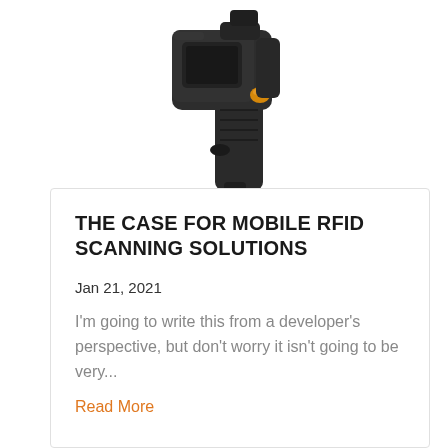[Figure (photo): RFID handheld scanner device shown from above against white background — black pistol-grip device with rectangular scanning head and small yellow trigger element]
THE CASE FOR MOBILE RFID SCANNING SOLUTIONS
Jan 21, 2021
I'm going to write this from a developer's perspective, but don't worry it isn't going to be very...
Read More